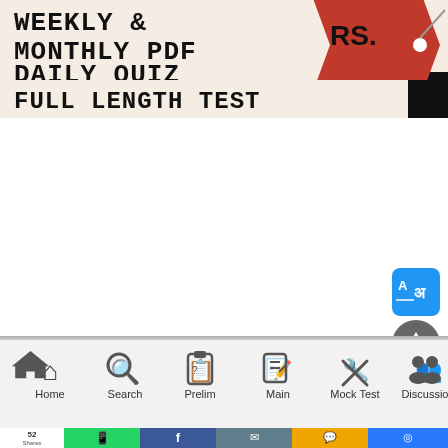[Figure (screenshot): Promotional banner with beige background showing text 'WEEKLY & MONTHLY PDF, DAILY QUIZ, REVISION TEST, FULL LENGTH TEST' with a red price tag showing RS. and a black rectangle on the right side]
[Figure (screenshot): Mobile app navigation bar with icons: Home, Search, Prelim, Main, Mock Test, Discussion]
[Figure (infographic): Social share bar showing 52 Shares, with WhatsApp (green), Facebook (blue), Email (grey), SMS (yellow), Messenger (blue) buttons]